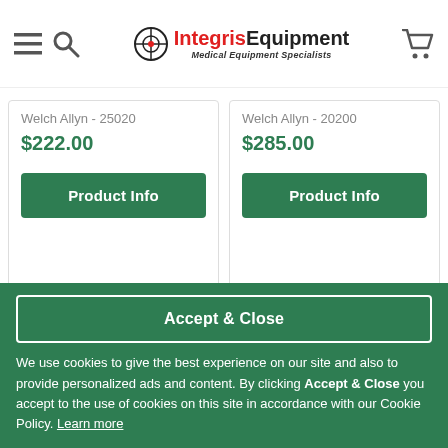Integris Equipment - Medical Equipment Specialists
Welch Allyn - 25020
$222.00
Welch Allyn - 20200
$285.00
Reviews
Accept & Close
We use cookies to give the best experience on our site and also to provide personalized ads and content. By clicking Accept & Close you accept to the use of cookies on this site in accordance with our Cookie Policy. Learn more